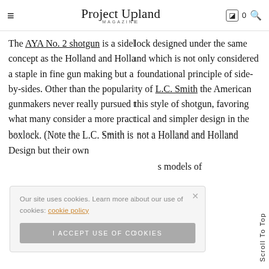Project Upland Magazine
The AYA No. 2 shotgun is a sidelock designed under the same concept as the Holland and Holland which is not only considered a staple in fine gun making but a foundational principle of side-by-sides. Other than the popularity of L.C. Smith the American gunmakers never really pursued this style of shotgun, favoring what many consider a more practical and simpler design in the boxlock. (Note the L.C. Smith is not a Holland and Holland Design but their own … s models of
Our site uses cookies. Learn more about our use of cookies: cookie policy
I ACCEPT USE OF COOKIES